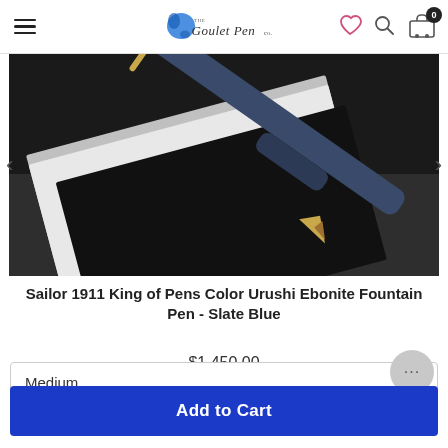The Goulet Pen Co.
[Figure (photo): Close-up photo of a Sailor 1911 King of Pens Slate Blue fountain pen with gold nib, resting diagonally on black and grey notebook covers against a dark background.]
Sailor 1911 King of Pens Color Urushi Ebonite Fountain Pen - Slate Blue
$1,450.00
Medium
Add to Cart